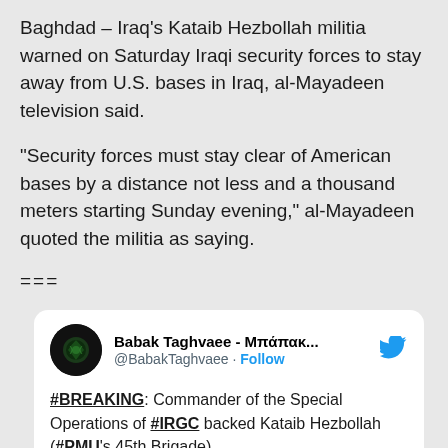Baghdad – Iraq's Kataib Hezbollah militia warned on Saturday Iraqi security forces to stay away from U.S. bases in Iraq, al-Mayadeen television said.
“Security forces must stay clear of American bases by a distance not less and a thousand meters starting Sunday evening,” al-Mayadeen quoted the militia as saying.
===
[Figure (screenshot): Embedded tweet from @BabakTaghvaee (Babak Taghvaee - Μπάπακ...) with Twitter bird logo and Follow button. Tweet text: #BREAKING: Commander of the Special Operations of #IRGC backed Kataib Hezbollah (#PMU's 45th Brigade)]